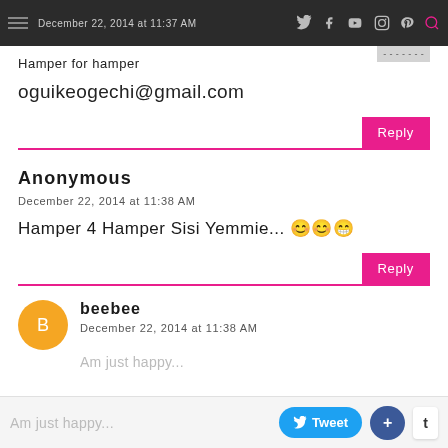December 22, 2014 at 11:37 AM
Hamper for hamper
oguikeogechi@gmail.com
Reply
Anonymous
December 22, 2014 at 11:38 AM
Hamper 4 Hamper Sisi Yemmie... 😊😊😁
Reply
beebee
December 22, 2014 at 11:38 AM
Am just happy...
Tweet  +  t